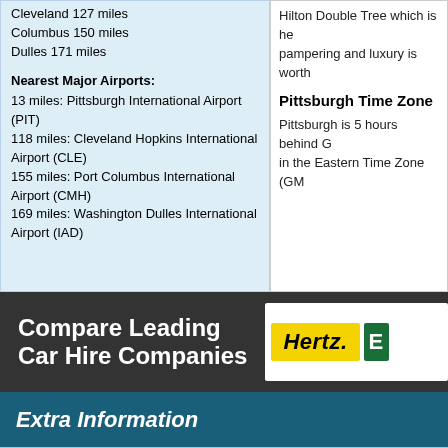Cleveland 127 miles
Columbus 150 miles
Dulles 171 miles
Nearest Major Airports:
13 miles: Pittsburgh International Airport (PIT)
118 miles: Cleveland Hopkins International Airport (CLE)
155 miles: Port Columbus International Airport (CMH)
169 miles: Washington Dulles International Airport (IAD)
Hilton Double Tree which is he... pampering and luxury is worth...
Pittsburgh Time Zone
Pittsburgh is 5 hours behind G... in the Eastern Time Zone (GM...
Compare Leading Car Hire Companies
Extra Information
Customer Services
Travel Videos
Latest Travel Guides